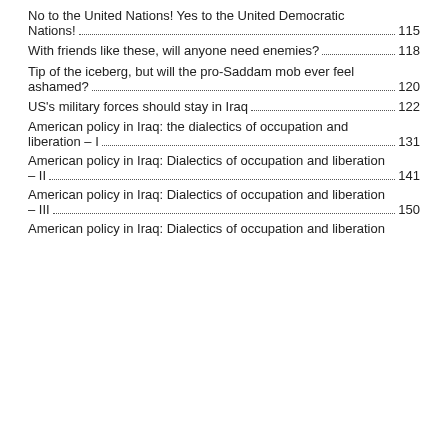No to the United Nations! Yes to the United Democratic Nations! .... 115
With friends like these, will anyone need enemies? .............. 118
Tip of the iceberg, but will the pro-Saddam mob ever feel ashamed? .....120
US's military forces should stay in Iraq ................................122
American policy in Iraq: the dialectics of occupation and liberation – I .....131
American policy in Iraq: Dialectics of occupation and liberation – II .....141
American policy in Iraq: Dialectics of occupation and liberation – III .....150
American policy in Iraq: Dialectics of occupation and liberation